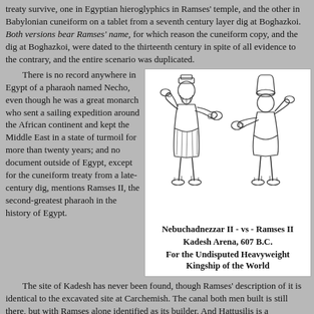treaty survive, one in Egyptian hieroglyphics in Ramses' temple, and the other in Babylonian cuneiform on a tablet from a seventh century layer dig at Boghazkoi. Both versions bear Ramses' name, for which reason the cuneiform copy, and the dig at Boghazkoi, were dated to the thirteenth century in spite of all evidence to the contrary, and the entire scenario was duplicated.
There is no record anywhere in Egypt of a pharaoh named Necho, even though he was a great monarch who sent a sailing expedition around the African continent and kept the Middle East in a state of turmoil for more than twenty years; and no document outside of Egypt, except for the cuneiform treaty from a late-century dig, mentions Ramses II, the second-greatest pharaoh in the history of Egypt.
[Figure (illustration): Two cartoon-style ancient warriors in boxing stances facing each other: on the left a Babylonian figure with beard and cylindrical hat, on the right an Egyptian figure with white crown, both wearing ancient garments. Caption reads: Nebuchadnezzar II - vs - Ramses II / Kadesh Arena, 607 B.C. / For the Undisputed Heavyweight Kingship of the World]
The site of Kadesh has never been found, though Ramses' description of it is identical to the excavated site at Carchemish. The canal both men built is still there, but with Ramses alone identified as its builder. And Hattusilis is a biographical and psychological twin of Nebuchadnezzar.
Velikovsky's conclusion was that the most famous battle in all antiquity pitted Ramses II, Pharaoh of Egypt, against Nebuchadnezzar, the King of Babylon, and Nebuchadnezzar...